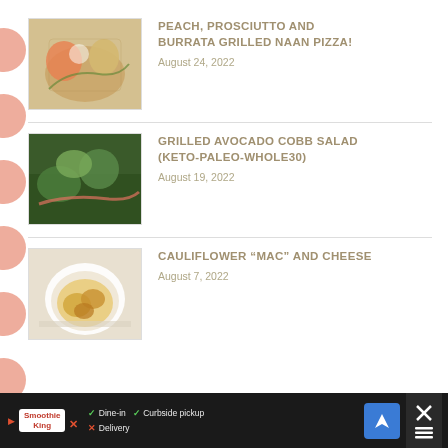[Figure (photo): Photo of a peach, prosciutto and burrata grilled naan pizza on a plate]
PEACH, PROSCIUTTO AND BURRATA GRILLED NAAN PIZZA!
August 24, 2022
[Figure (photo): Photo of a grilled avocado cobb salad with vegetables]
GRILLED AVOCADO COBB SALAD (KETO-PALEO-WHOLE30)
August 19, 2022
[Figure (photo): Photo of cauliflower mac and cheese in a bowl on a white plate]
CAULIFLOWER “MAC” AND CHEESE
August 7, 2022
Dine-in  Curbside pickup  Delivery  [ad banner]